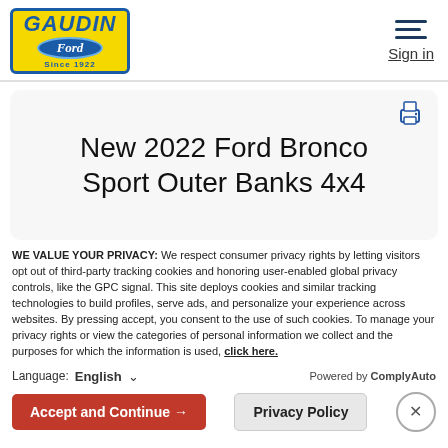[Figure (logo): Gaudin Ford dealership logo: yellow background with blue border, GAUDIN in bold blue italic text, Ford oval badge, Since 1922 text]
Sign in
New 2022 Ford Bronco Sport Outer Banks 4x4
WE VALUE YOUR PRIVACY: We respect consumer privacy rights by letting visitors opt out of third-party tracking cookies and honoring user-enabled global privacy controls, like the GPC signal. This site deploys cookies and similar tracking technologies to build profiles, serve ads, and personalize your experience across websites. By pressing accept, you consent to the use of such cookies. To manage your privacy rights or view the categories of personal information we collect and the purposes for which the information is used, click here.
Language: English   Powered by ComplyAuto
Accept and Continue →   Privacy Policy